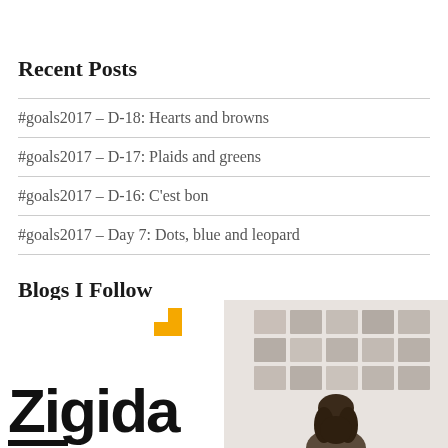Recent Posts
#goals2017 – D-18: Hearts and browns
#goals2017 – D-17: Plaids and greens
#goals2017 – D-16: C'est bon
#goals2017 – Day 7: Dots, blue and leopard
Blogs I Follow
[Figure (logo): Zigida logo with bold black text and yellow geometric accent]
[Figure (photo): Person viewing a grid of photos mounted on a wall]